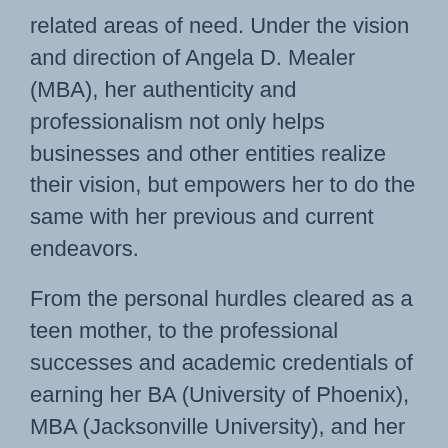related areas of need.  Under the vision and direction of Angela D. Mealer (MBA), her authenticity and professionalism not only helps businesses and other entities realize their vision, but empowers her to do the same with her previous and current endeavors.

From the personal hurdles cleared as a teen mother, to the professional successes and academic credentials of earning her BA (University of Phoenix), MBA (Jacksonville University), and her ongoing work towards her doctoral studies in educational leadership (Nova SE University), Ms. Mealer is a living example of having a vision and aligning it with best and consistent practices in having professional success.  Including